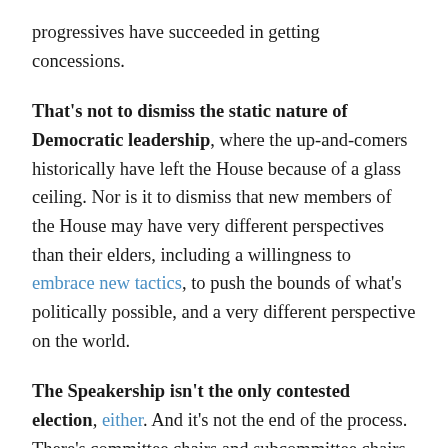progressives have succeeded in getting concessions.
That's not to dismiss the static nature of Democratic leadership, where the up-and-comers historically have left the House because of a glass ceiling. Nor is it to dismiss that new members of the House may have very different perspectives than their elders, including a willingness to embrace new tactics, to push the bounds of what's politically possible, and a very different perspective on the world.
The Speakership isn't the only contested election, either. And it's not the end of the process. There's committee chairs and subcommittee chairs, plus the bidding process by which members join committees, and the committee rules drafting process. All this